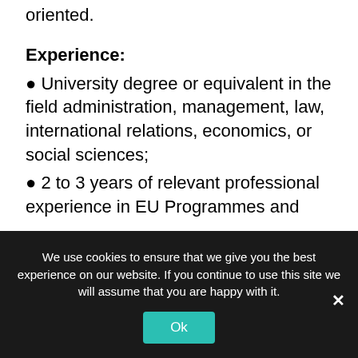oriented.
Experience:
● University degree or equivalent in the field administration, management, law, international relations, economics, or social sciences;
● 2 to 3 years of relevant professional experience in EU Programmes and Projects:
● very good networking and interpersonal skills for an international environment;
● experience of stakeholder engagement;
● very good organisational and communication
We use cookies to ensure that we give you the best experience on our website. If you continue to use this site we will assume that you are happy with it.